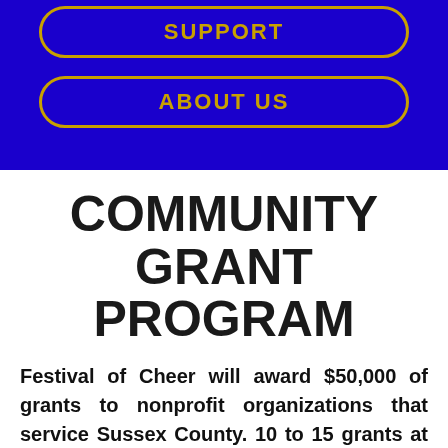[Figure (screenshot): Blue navigation banner with two rounded gold-bordered buttons labeled SUPPORT and ABOUT US on a dark blue background]
COMMUNITY GRANT PROGRAM
Festival of Cheer will award $50,000 of grants to nonprofit organizations that service Sussex County. 10 to 15 grants at varying levels of support from $1,000 up to $5,000.